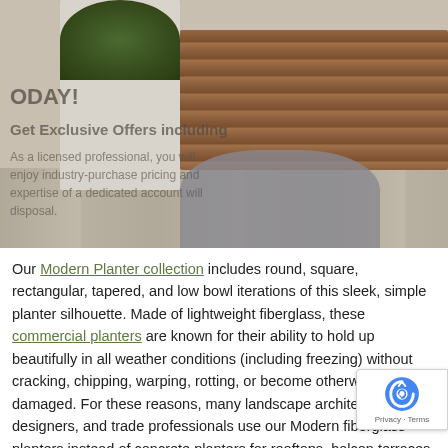[Figure (photo): Outdoor patio scene showing wooden bench slats, a gray woven chair, a light gray rectangular planter with green plants, and tile flooring. Semi-transparent overlay text partially visible.]
Our Modern Planter collection includes round, square, rectangular, tapered, and low bowl iterations of this sleek, simple planter silhouette. Made of lightweight fiberglass, these commercial planters are known for their ability to hold up beautifully in all weather conditions (including freezing) without cracking, chipping, warping, rotting, or become otherwise damaged. For these reasons, many landscape architects, designers, and trade professionals use our Modern fiberglass planters instead of concrete planters for rooftops, balconies, terraces, and other areas where weight and weather conditions are major factors.